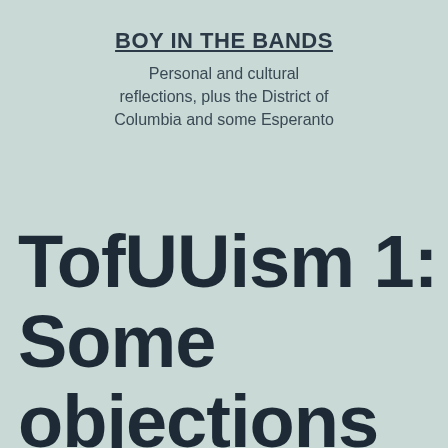BOY IN THE BANDS
Personal and cultural reflections, plus the District of Columbia and some Esperanto
TofUUism 1: Some objections to